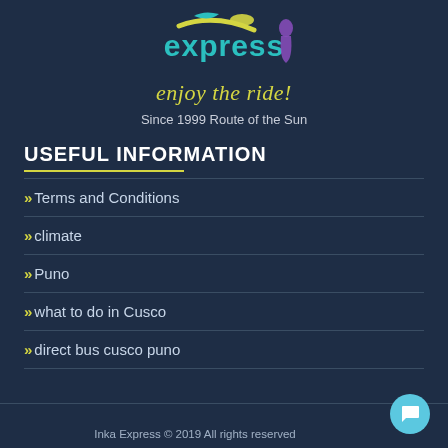[Figure (logo): Inka Express logo with teal 'express' text, yellow decorative elements, and a purple silhouette figure]
enjoy the ride!
Since 1999 Route of the Sun
USEFUL INFORMATION
Terms and Conditions
climate
Puno
what to do in Cusco
direct bus cusco puno
Inka Express © 2019 All rights reserved